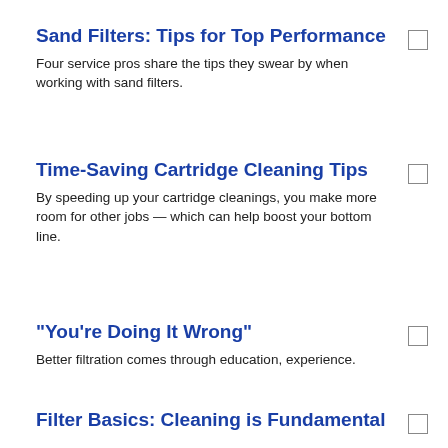Sand Filters: Tips for Top Performance
Four service pros share the tips they swear by when working with sand filters.
Time-Saving Cartridge Cleaning Tips
By speeding up your cartridge cleanings, you make more room for other jobs — which can help boost your bottom line.
"You're Doing It Wrong"
Better filtration comes through education, experience.
Filter Basics: Cleaning is Fundamental